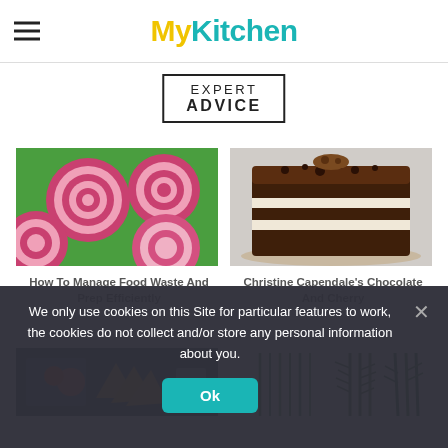MyKitchen
EXPERT ADVICE
[Figure (photo): Sliced beets with pink and white concentric ring patterns on green background]
How To Manage Food Waste And Prep Efficiently
[Figure (photo): Layered chocolate and cream cake with crumble topping on white background]
Christine Capendale's Chocolate And Cherry
[Figure (photo): Chips and food on dark background]
[Figure (photo): Fresh herbs including chives and rosemary on white background]
We only use cookies on this Site for particular features to work, the cookies do not collect and/or store any personal information about you.